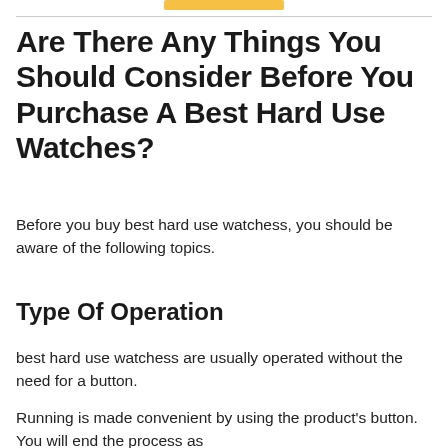Are There Any Things You Should Consider Before You Purchase A Best Hard Use Watches?
Before you buy best hard use watchess, you should be aware of the following topics.
Type Of Operation
best hard use watchess are usually operated without the need for a button.
Running is made convenient by using the product's button. You will end the process as